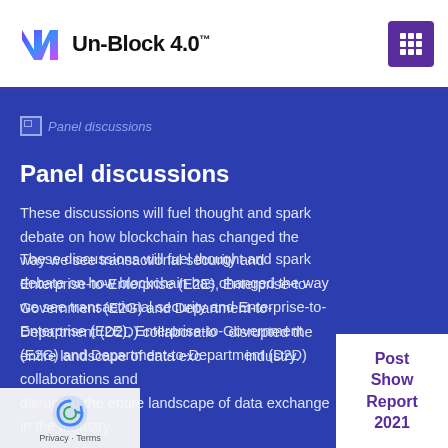Un-Block 4.0
[Figure (logo): Un-Block 4.0 logo with stylized N icon in blue/purple gradient and grid icon button top right]
[Figure (illustration): Broken image placeholder with italic label 'Panel discussions']
Panel discussions
These discussions will fuel thought and spark debate on how blockchain has changed the way we see transactional security and Enterprise-to-Enterprise (E2E), Enterprise-to-Government (E2G) and Department-to-Department (D2D) collaborations and disrupted the entire landscape of data exchange in the industry.
Post Show Report 2021